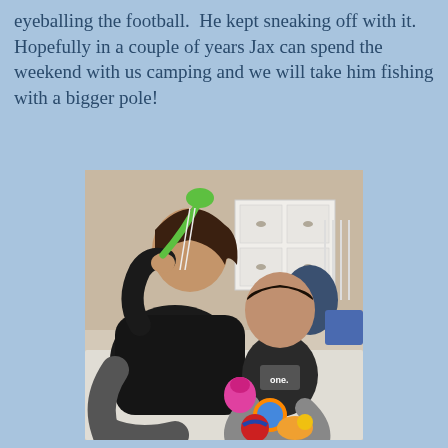eyeballing the football.  He kept sneaking off with it.  Hopefully in a couple of years Jax can spend the weekend with us camping and we will take him fishing with a bigger pole!
[Figure (photo): A woman in a black outfit sitting on a carpet, holding a green toy fishing pole toward a baby. The baby, wearing a dark shirt that reads 'one.', is sitting on the carpet surrounded by colorful toys. A white dresser and room decor are visible in the background.]